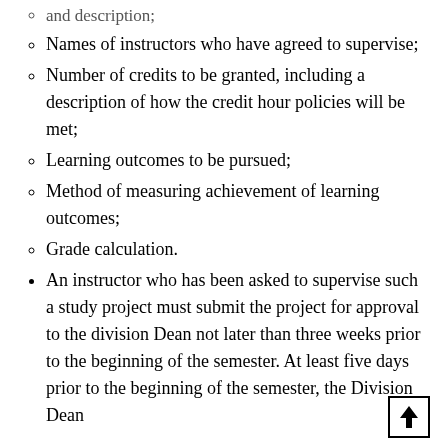and description;
Names of instructors who have agreed to supervise;
Number of credits to be granted, including a description of how the credit hour policies will be met;
Learning outcomes to be pursued;
Method of measuring achievement of learning outcomes;
Grade calculation.
An instructor who has been asked to supervise such a study project must submit the project for approval to the division Dean not later than three weeks prior to the beginning of the semester. At least five days prior to the beginning of the semester, the Division Dean